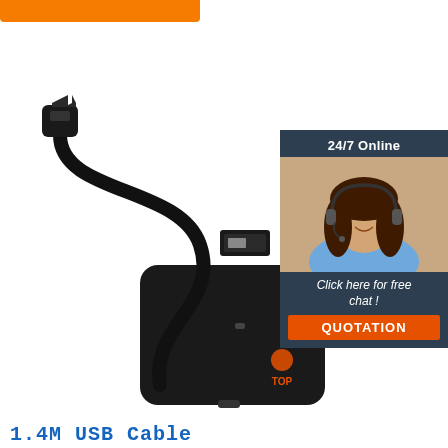[Figure (illustration): Orange horizontal banner bar at top left of page]
[Figure (photo): Photo of a black mini USB cable and a black USB reader device with 'USB Reader' text and TOP logo]
[Figure (infographic): Sidebar box with dark blue background: '24/7 Online' header, photo of female customer service agent with headset smiling, 'Click here for free chat!' text, and orange QUOTATION button]
1.4M USB Cable